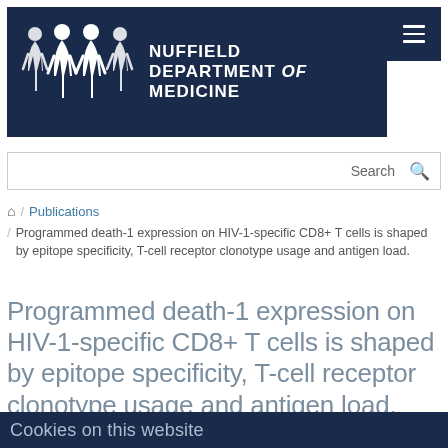[Figure (logo): Nuffield Department of Medicine logo: dark navy blue rectangle with four white human figure silhouettes on the left and white text 'NUFFIELD DEPARTMENT of MEDICINE' on the right.]
[Figure (other): Navigation menu hamburger button (three horizontal white lines on dark navy background).]
Search
Publications
Programmed death-1 expression on HIV-1-specific CD8+ T cells is shaped by epitope specificity, T-cell receptor clonotype usage and antigen load.
Programmed death-1 expression on HIV-1-specific CD8+ T cells is shaped by epitope specificity, T-cell receptor clonotype usage and antigen load.
Cookies on this website